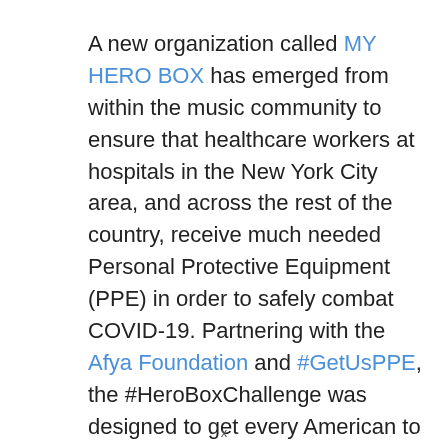A new organization called MY HERO BOX has emerged from within the music community to ensure that healthcare workers at hospitals in the New York City area, and across the rest of the country, receive much needed Personal Protective Equipment (PPE) in order to safely combat COVID-19. Partnering with the Afya Foundation and #GetUsPPE, the #HeroBoxChallenge was designed to get every American to search their homes for unused masks, gloves, hand ...